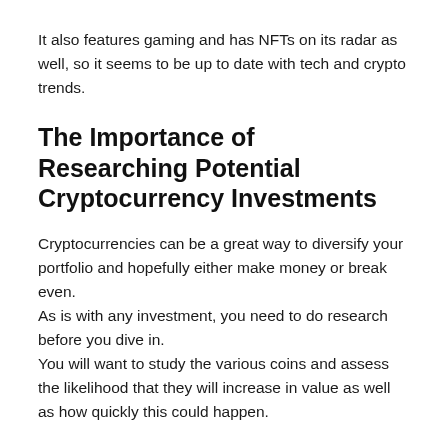It also features gaming and has NFTs on its radar as well, so it seems to be up to date with tech and crypto trends.
The Importance of Researching Potential Cryptocurrency Investments
Cryptocurrencies can be a great way to diversify your portfolio and hopefully either make money or break even.
As is with any investment, you need to do research before you dive in.
You will want to study the various coins and assess the likelihood that they will increase in value as well as how quickly this could happen.